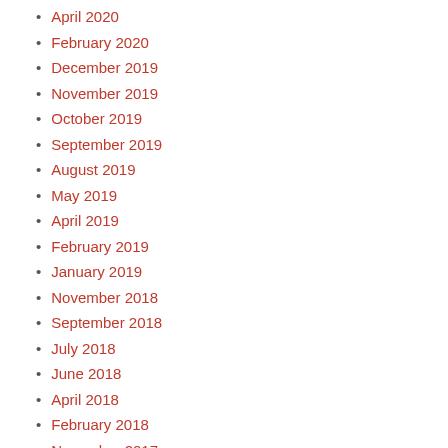April 2020
February 2020
December 2019
November 2019
October 2019
September 2019
August 2019
May 2019
April 2019
February 2019
January 2019
November 2018
September 2018
July 2018
June 2018
April 2018
February 2018
November 2017
October 2017
July 2017
June 2017
April 2017